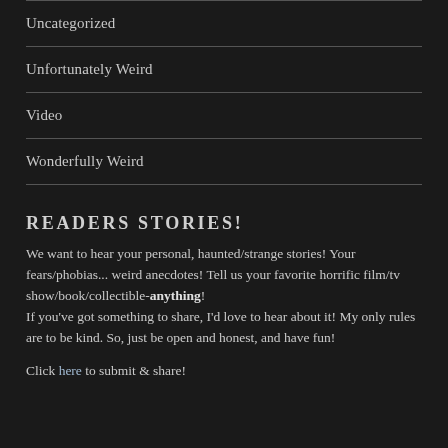Uncategorized
Unfortunately Weird
Video
Wonderfully Weird
READERS STORIES!
We want to hear your personal, haunted/strange stories! Your fears/phobias... weird anecdotes! Tell us your favorite horrific film/tv show/book/collectible-anything!
If you've got something to share, I'd love to hear about it! My only rules are to be kind. So, just be open and honest, and have fun!
Click here to submit & share!